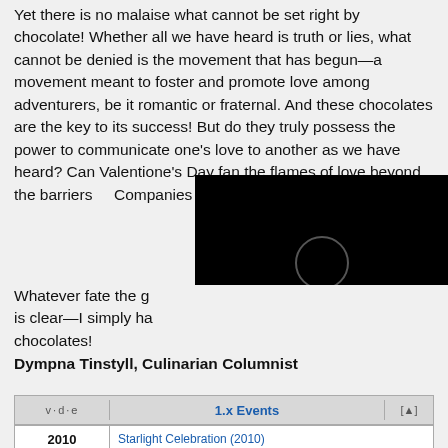Yet there is no malaise what cannot be set right by chocolate! Whether all we have heard is truth or lies, what cannot be denied is the movement that has begun—a movement meant to foster and promote love among adventurers, be it romantic or fraternal. And these chocolates are the key to its success! But do they truly possess the power to communicate one's love to another as we have heard? Can Valentione's Day fan the flames of love beyond the barriers [obscured] Companies as the A[obscured]
[Figure (screenshot): Black video player overlay with a circular loading/play spinner in the center]
Whatever fate the g[obscured] is clear—I simply ha[obscured] chocolates!
Dympna Tinstyll, Culinarian Columnist
| v·d·e | 1.x Events | [▲] |
| --- | --- | --- |
| 2010 | Starlight Celebration (2010) |
|  | Heavensturn (2011) • Valentione's Day |